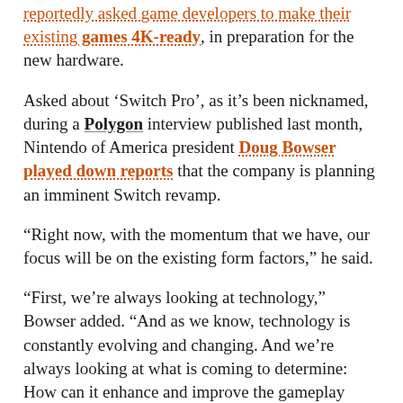reportedly asked game developers to make their existing games 4K-ready, in preparation for the new hardware.
Asked about ‘Switch Pro’, as it’s been nicknamed, during a Polygon interview published last month, Nintendo of America president Doug Bowser played down reports that the company is planning an imminent Switch revamp.
“Right now, with the momentum that we have, our focus will be on the existing form factors,” he said.
“First, we’re always looking at technology,” Bowser added. “And as we know, technology is constantly evolving and changing. And we’re always looking at what is coming to determine: How can it enhance and improve the gameplay experience? And whether that’s on a current platform, or whether that’s on a future platform, we’re always looking at that.